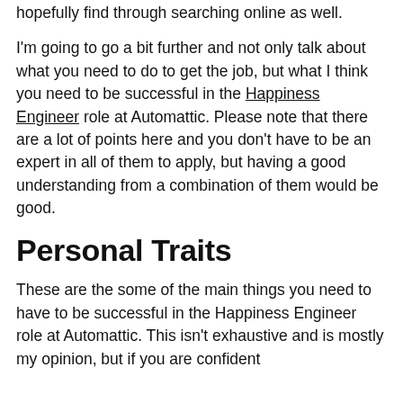hopefully find through searching online as well.
I'm going to go a bit further and not only talk about what you need to do to get the job, but what I think you need to be successful in the Happiness Engineer role at Automattic. Please note that there are a lot of points here and you don't have to be an expert in all of them to apply, but having a good understanding from a combination of them would be good.
Personal Traits
These are the some of the main things you need to have to be successful in the Happiness Engineer role at Automattic. This isn't exhaustive and is mostly my opinion, but if you are confident